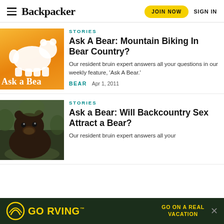Backpacker | JOIN NOW | SIGN IN
[Figure (illustration): Orange gradient background with white bear silhouette and 'Ask a Bea' text]
STORIES
Ask A Bear: Mountain Biking In Bear Country?
Our resident bruin expert answers all your questions in our weekly feature, 'Ask A Bear.'
BEAR   Apr 1, 2011
[Figure (photo): Photo of a brown bear sitting in forested area]
STORIES
Ask a Bear: Will Backcountry Sex Attract a Bear?
Our resident bruin expert answers all your
[Figure (infographic): GO RVING advertisement banner with yellow logo on dark green background, text: GO ON A REAL VACATION]